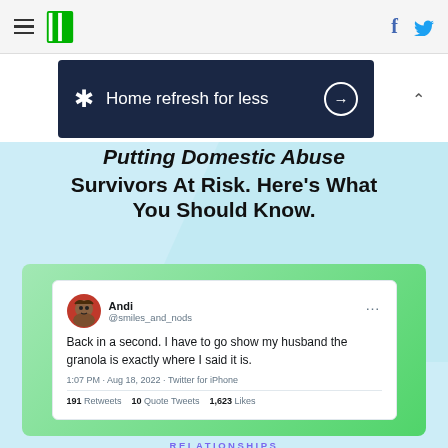HuffPost navigation header with hamburger menu, HuffPost logo, Facebook and Twitter icons
[Figure (screenshot): Walmart ad banner: asterisk/spark logo, text 'Home refresh for less', arrow circle button, on dark navy background]
Putting Domestic Abuse Survivors At Risk. Here's What You Should Know.
[Figure (screenshot): Tweet screenshot from @smiles_and_nods (Andi): 'Back in a second. I have to go show my husband the granola is exactly where I said it is.' 1:07 PM · Aug 18, 2022 · Twitter for iPhone. 191 Retweets 10 Quote Tweets 1,623 Likes]
RELATIONSHIPS
The Funniest Marriage Tweets